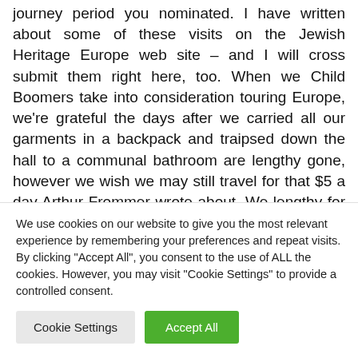journey period you nominated. I have written about some of these visits on the Jewish Heritage Europe web site – and I will cross submit them right here, too. When we Child Boomers take into consideration touring Europe, we're grateful the days after we carried all our garments in a backpack and traipsed down the hall to a communal bathroom are lengthy gone, however we wish we may still travel for that $5 a day Arthur Frommer wrote about. We lengthy for a cushty residence that is as low cost as a personal room in a hostel and gourmet meals for the value of...
We use cookies on our website to give you the most relevant experience by remembering your preferences and repeat visits. By clicking "Accept All", you consent to the use of ALL the cookies. However, you may visit "Cookie Settings" to provide a controlled consent.